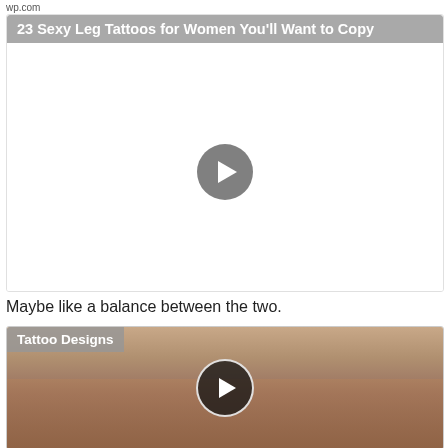wp.com
[Figure (screenshot): Video thumbnail with title bar '23 Sexy Leg Tattoos for Women You'll Want to Copy' and a play button on white background]
Maybe like a balance between the two.
[Figure (screenshot): Video thumbnail with title bar 'Tattoo Designs', showing a person's midsection with tattoos and a play button overlay]